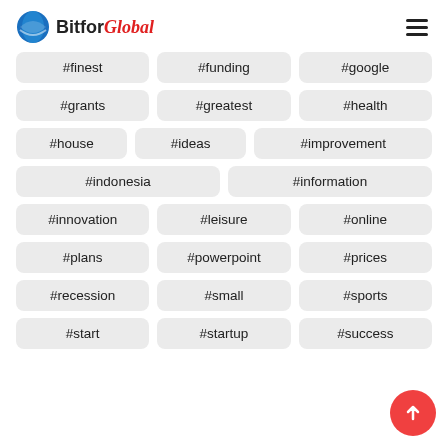BitforGlobal
#finest
#funding
#google
#grants
#greatest
#health
#house
#ideas
#improvement
#indonesia
#information
#innovation
#leisure
#online
#plans
#powerpoint
#prices
#recession
#small
#sports
#start
#startup
#success